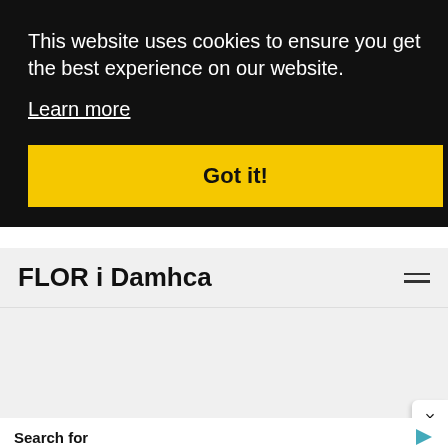This website uses cookies to ensure you get the best experience on our website.
Learn more
Got it!
FLOR i Damhca
×
Search for
01. Find Cloud Based Data Backup
02. Top EHR Mental Health Software
Yahoo! Search | Sponsored